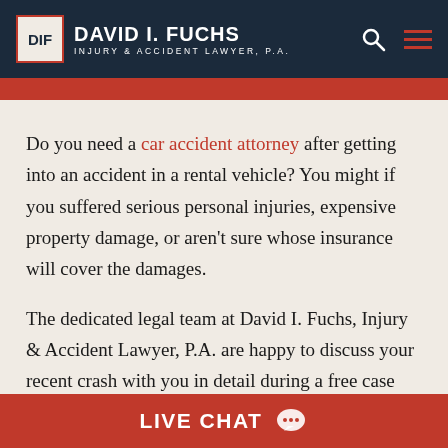DAVID I. FUCHS INJURY & ACCIDENT LAWYER, P.A.
Do you need a car accident attorney after getting into an accident in a rental vehicle? You might if you suffered serious personal injuries, expensive property damage, or aren't sure whose insurance will cover the damages.
The dedicated legal team at David I. Fuchs, Injury & Accident Lawyer, P.A. are happy to discuss your recent crash with you in detail during a free case
LIVE CHAT